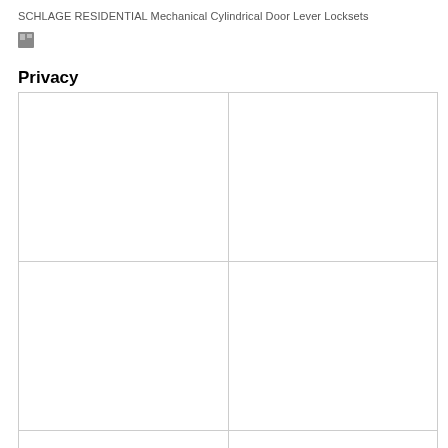SCHLAGE RESIDENTIAL Mechanical Cylindrical Door Lever Locksets
[Figure (other): Small logo/icon graphic]
Privacy
|  |  |
|  |  |
|  |  |